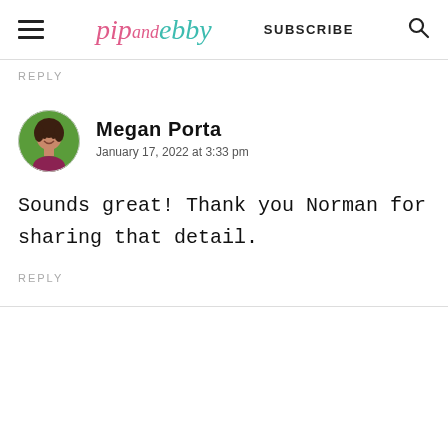pip and ebby  SUBSCRIBE
REPLY
[Figure (photo): Circular avatar photo of Megan Porta, a woman with dark hair smiling, set against a green background.]
Megan Porta
January 17, 2022 at 3:33 pm
Sounds great! Thank you Norman for sharing that detail.
REPLY